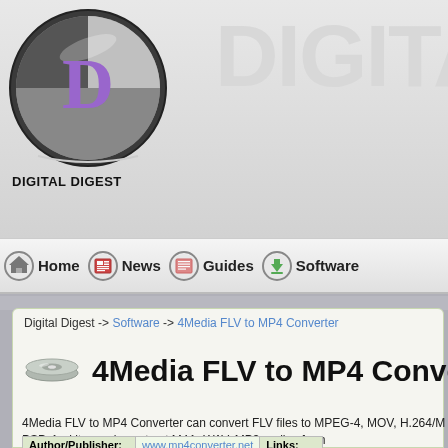[Figure (logo): Digital Digest logo - circular icon with 'D' letter in purple/grey tones, with text DIGITAL DIGEST below]
DIGITA
Home | News | Guides | Software
Digital Digest -> Software -> 4Media FLV to MP4 Converter
4Media FLV to MP4 Converter
4Media FLV to MP4 Converter can convert FLV files to MPEG-4, MOV, H.264/M like iPod, iPhone and PSP. And it can also extract M4A, WAV, MP3 audios from
| Author/Publisher: | www.mp4converter.net | Links: |
| --- | --- | --- |